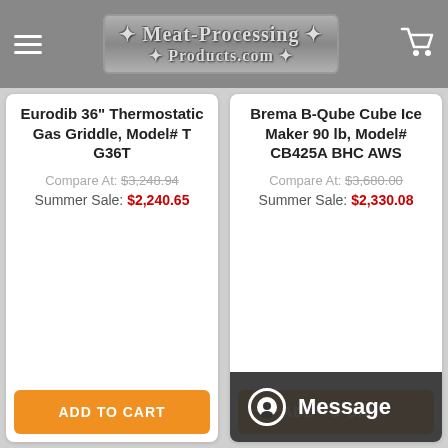Meat-Processing Products.com
Eurodib 36" Thermostatic Gas Griddle, Model# T G36T
Compare At: $3,248.94
Summer Sale: $2,240.65
Brema B-Qube Cube Ice Maker 90 lb, Model# CB425A BHC AWS
Compare At: $3,680.00
Summer Sale: $2,330.08
ADD TO CART
Message